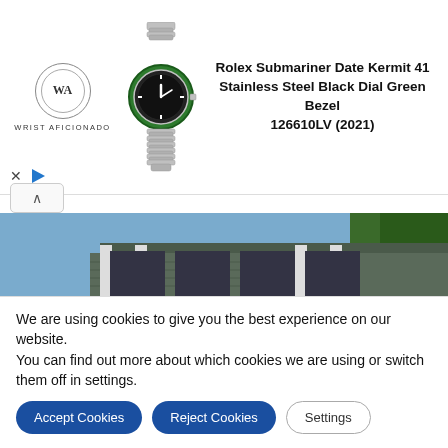[Figure (advertisement): Wrist Aficionado advertisement featuring a Rolex Submariner Date Kermit 41 watch with logo and brand name]
Rolex Submariner Date Kermit 41 Stainless Steel Black Dial Green Bezel 126610LV (2021)
[Figure (photo): Construction scene showing a house being lifted or excavated with an orange skid steer loader in the foreground and a pile of dirt]
We are using cookies to give you the best experience on our website.
You can find out more about which cookies we are using or switch them off in settings.
Accept Cookies   Reject Cookies   Settings